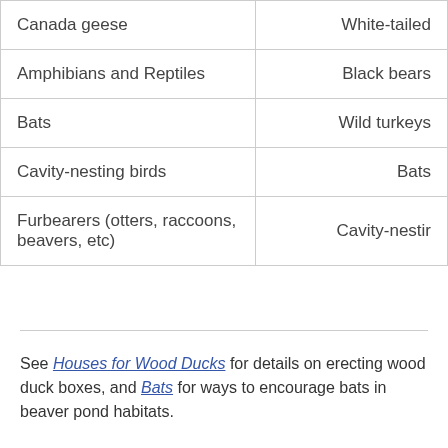| Canada geese | White-tailed |
| Amphibians and Reptiles | Black bears |
| Bats | Wild turkeys |
| Cavity-nesting birds | Bats |
| Furbearers (otters, raccoons, beavers, etc) | Cavity-nestin |
See Houses for Wood Ducks for details on erecting wood duck boxes, and Bats for ways to encourage bats in beaver pond habitats.
[Figure (photo): Partial photo of a water body or beaver pond habitat, muted gray-brown tones]